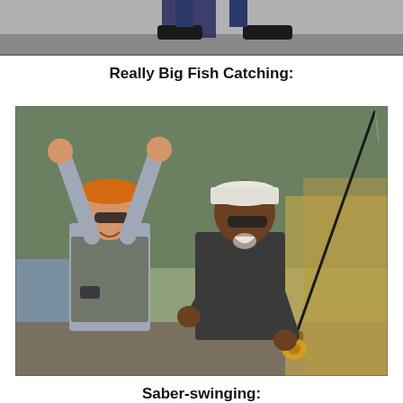[Figure (photo): Cropped top portion of a photo showing feet/legs of a person, partially visible at the top of the page.]
Really Big Fish Catching:
[Figure (photo): Two men celebrating outdoors near a river with trees in background. Left man wears orange cap, sunglasses, and fishing vest with both arms raised in victory. Right man wears white cap, sunglasses, and dark jacket, holding a fishing rod and laughing.]
Saber-swinging: